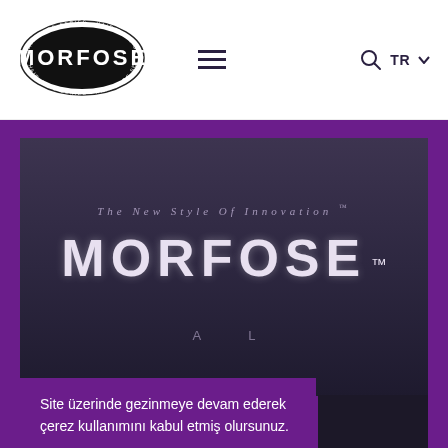[Figure (logo): Morfose Hair Care Series logo — oval black shape with MORFOSE text and circular dotted border text reading HAIR CARE SERIES]
[Figure (screenshot): Morfose website screenshot showing navigation header with hamburger menu, search icon, TR language selector, and main hero banner with dark background showing 'The New Style Of Innovation MORFOSE' text in dotted/rhinestone letters, with purple background and cookie consent overlay at bottom left reading 'Site üzerinde gezinmeye devam ederek çerez kullanımını kabul etmiş olursunuz.' and TAMAM button]